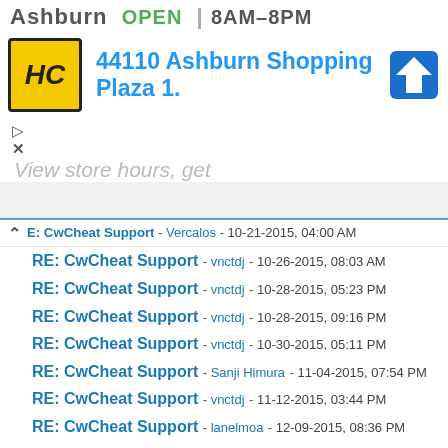[Figure (screenshot): Advertisement banner for Ashburn store: HC logo, address 44110 Ashburn Shopping Plaza 1., open hours 8AM-8PM, navigation icon, view store hours link, close button]
E: CwCheat Support - Vercalos - 10-21-2015, 04:00 AM
RE: CwCheat Support - vnctdj - 10-26-2015, 08:03 AM
RE: CwCheat Support - vnctdj - 10-28-2015, 05:23 PM
RE: CwCheat Support - vnctdj - 10-28-2015, 09:16 PM
RE: CwCheat Support - vnctdj - 10-30-2015, 05:11 PM
RE: CwCheat Support - Sanji Himura - 11-04-2015, 07:54 PM
RE: CwCheat Support - vnctdj - 11-12-2015, 03:44 PM
RE: CwCheat Support - lanelmoa - 12-09-2015, 08:36 PM
RE: CwCheat Support - thekorganut - 12-16-2015, 05:42 PM
RE: CwCheat Support - thekorganut - 12-17-2015, 10:10 AM
RE: CwCheat Support - jorgebueno - 12-24-2015, 12:11 AM
RE: CwCheat Support - vnctdj - 01-10-2016, 12:42 AM
RE: CwCheat Support - adildoh - 01-12-2016, 12:59 PM
RE: CwCheat Support - phantrr - 01-17-2016, 09:01 AM
RE: CwCheat Support - crayh1992 - 01-23-2016, 11:45 PM
RE: CwCheat Support - kuro_shiroi - 01-25-2016, 04:12 AM
Conditional & Joker Command Codes - DawgY - 02-07-2016, 10:23 PM
RE: CwCheat Support - LadyZephyr - 02-08-2016, 10:44 PM
RE: CwCheat Support - Sanji Himura - 02-09-2016, 03:23 AM
RE: CwCheat Support - LadyZephyr - 02-10-2016, 03:20 AM